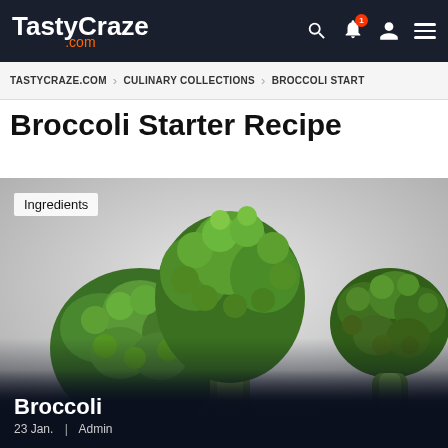TastyCraze .com
TASTYCRAZE.COM > CULINARY COLLECTIONS > BROCCOLI START
Broccoli Starter Recipe
Ingredients
[Figure (photo): Three broccoli florets arranged on a light grey background, photographed from above/angle showing cross-sections and florets.]
Broccoli
23 Jan.  |  Admin